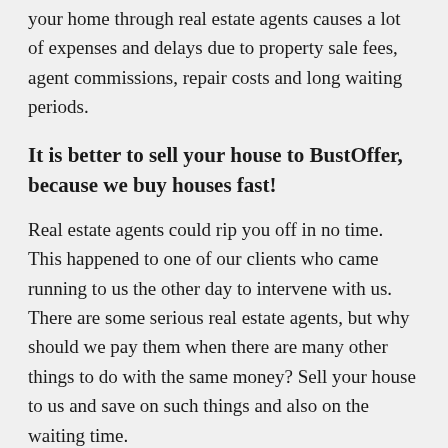your home through real estate agents causes a lot of expenses and delays due to property sale fees, agent commissions, repair costs and long waiting periods.
It is better to sell your house to BustOffer, because we buy houses fast!
Real estate agents could rip you off in no time. This happened to one of our clients who came running to us the other day to intervene with us. There are some serious real estate agents, but why should we pay them when there are many other things to do with the same money? Sell your house to us and save on such things and also on the waiting time.
However, banks have a very annoying way of frustrating some potential homeowners. The stories we hear are sad, but right now the best thing we can do as investors is to buy your home quickly. Our process has been